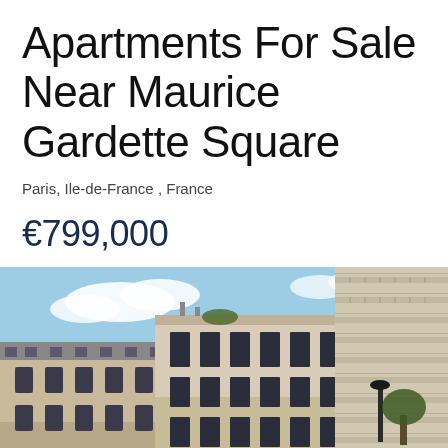Apartments For Sale Near Maurice Gardette Square
Paris, Ile-de-France , France
€799,000
[Figure (photo): Exterior photo of Parisian apartment buildings with blue sky and balconies]
CALL  EMAIL